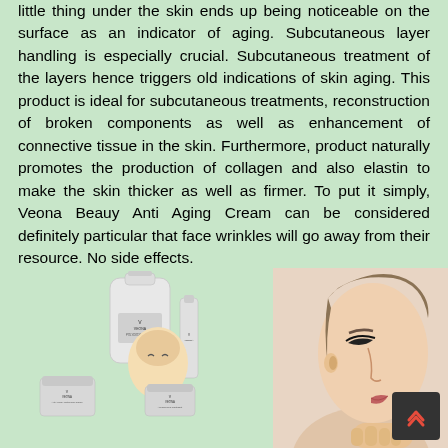little thing under the skin ends up being noticeable on the surface as an indicator of aging. Subcutaneous layer handling is especially crucial. Subcutaneous treatment of the layers hence triggers old indications of skin aging. This product is ideal for subcutaneous treatments, reconstruction of broken components as well as enhancement of connective tissue in the skin. Furthermore, product naturally promotes the production of collagen and also elastin to make the skin thicker as well as firmer. To put it simply, Veona Beauy Anti Aging Cream can be considered definitely particular that face wrinkles will go away from their resource. No side effects.
[Figure (photo): Left side: Veona beauty product lineup including bottles, jars, and tubes of anti-aging cream. Right side: Profile of a woman's face with flawless skin, hand under chin.]